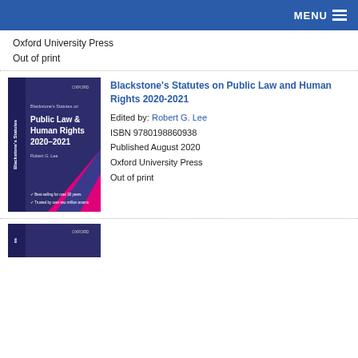MENU
Oxford University Press
Out of print
[Figure (photo): Book cover of Blackstone's Statutes on Public Law & Human Rights 2020-2021, purple and pink cover with diagonal lines]
Blackstone's Statutes on Public Law and Human Rights 2020-2021
Edited by: Robert G. Lee
ISBN 9780198860938
Published August 2020
Oxford University Press
Out of print
[Figure (photo): Partial view of another book cover, dark purple]